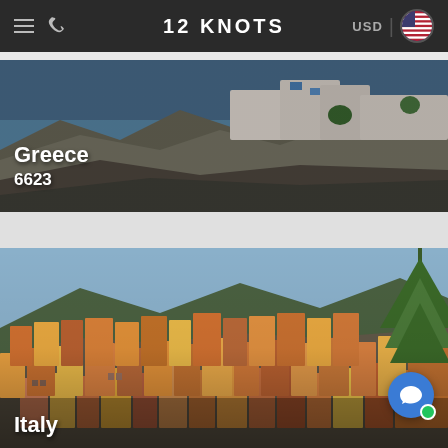12 KNOTS
[Figure (photo): Coastal cliffside scene with white buildings by the sea, likely a Greek destination]
Greece
6623
[Figure (photo): Colorful hillside Italian village with terracotta and yellow buildings stacked on rocky cliffs, Cinque Terre Italy]
Italy